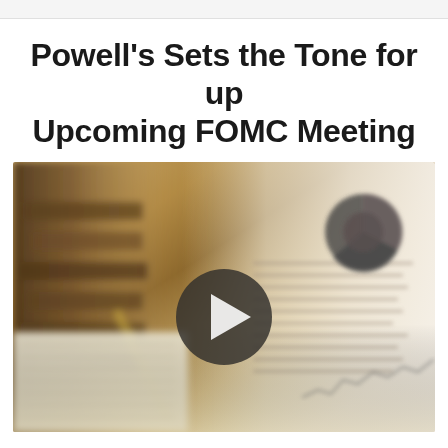Powell's Sets the Tone for up Upcoming FOMC Meeting
[Figure (photo): Blurred photo of financial documents, a gavel/wooden item, and charts in the background with a play button overlay in the center, suggesting a video thumbnail about the FOMC meeting.]